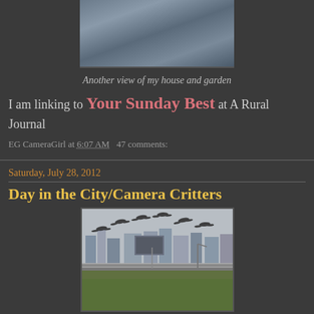[Figure (photo): Close-up photo of a reflective glass globe showing a house and garden, with blue flowers/foliage in the background]
Another view of my house and garden
I am linking to Your Sunday Best at A Rural Journal
EG CameraGirl at 6:07 AM   47 comments:
Saturday, July 28, 2012
Day in the City/Camera Critters
[Figure (photo): Photo of birds (Canada geese) flying over a city highway/bridge scene with urban buildings in the background]